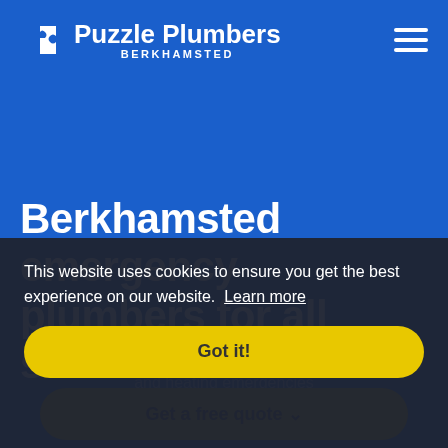Puzzle Plumbers BERKHAMSTED
Berkhamsted emergency plumbers for all situtions
Gas Safe Berkhamsted-based plumbers for all plumbing and heating emergencies
[Figure (screenshot): Cookie consent banner overlay with text: This website uses cookies to ensure you get the best experience on our website. Learn more. With a 'Got it!' button.]
Get a free quote